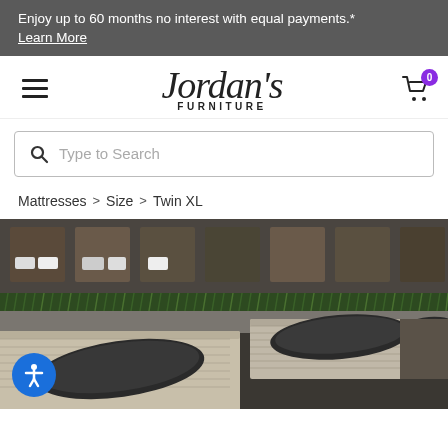Enjoy up to 60 months no interest with equal payments.* Learn More
[Figure (logo): Jordan's Furniture logo with hamburger menu and shopping cart icon with badge showing 0]
[Figure (other): Search bar with magnifying glass icon and placeholder text 'Type to Search']
Mattresses > Size > Twin XL
[Figure (photo): Interior of a mattress showroom with multiple mattresses on display, black throw pillows, green grass dividers, and various pillows and bedding items.]